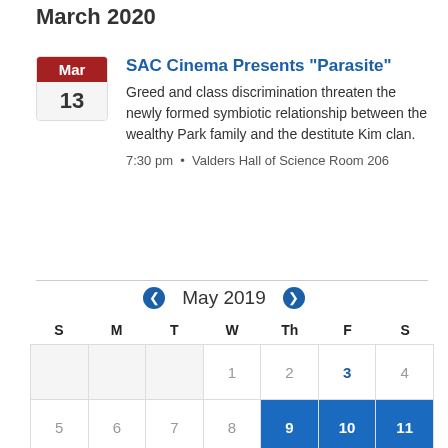March 2020
SAC Cinema Presents "Parasite"
Greed and class discrimination threaten the newly formed symbiotic relationship between the wealthy Park family and the destitute Kim clan.
7:30 pm  •  Valders Hall of Science Room 206
[Figure (other): May 2019 calendar navigation with left and right arrow buttons]
| S | M | T | W | Th | F | S |
| --- | --- | --- | --- | --- | --- | --- |
|  |  |  | 1 | 2 | 3 | 4 |
| 5 | 6 | 7 | 8 | 9 | 10 | 11 |
| 12 | 13 | 14 | 15 | 16 | 17 | 18 |